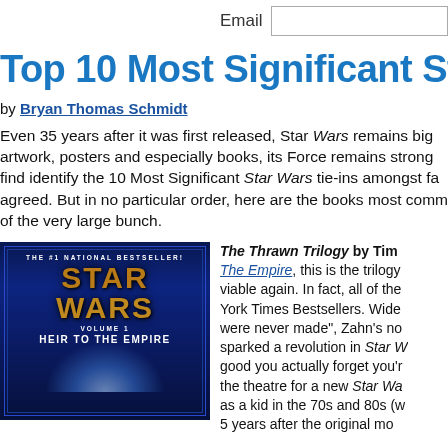Email [input field]
Top 10 Most Significant Star Wa...
by Bryan Thomas Schmidt
Even 35 years after it was first released, Star Wars remains big... artwork, posters and especially books, its Force remains strong... find identify the 10 Most Significant Star Wars tie-ins amongst fa... agreed. But in no particular order, here are the books most comm... of the very large bunch.
[Figure (photo): Book cover of Star Wars: Heir to the Empire, Volume 1, #1 National Bestseller, showing Star Wars logo in gold/brown on a dark blue space background with light rays.]
The Thrawn Trilogy by Tim... The Empire, this is the trilogy... viable again. In fact, all of the... York Times Bestsellers. Wide... were never made", Zahn's no... sparked a revolution in Star W... good you actually forget you'r... the theatre for a new Star Wa... as a kid in the 70s and 80s (w... 5 years after the original mo...